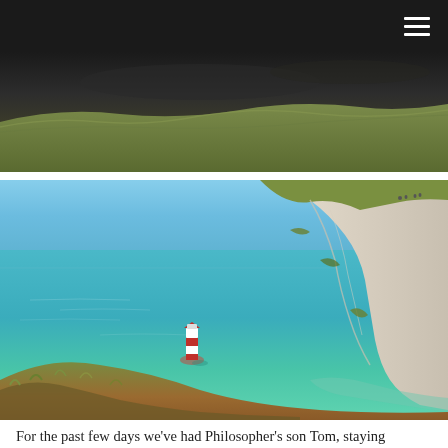navigation menu
[Figure (photo): Top landscape photo showing grassy cliffs under a dark sky]
[Figure (photo): Coastal photograph showing Beachy Head white chalk cliffs with a red and white striped lighthouse in the turquoise sea below, taken from clifftop perspective on a sunny day]
For the past few days we've had Philosopher's son Tom, staying